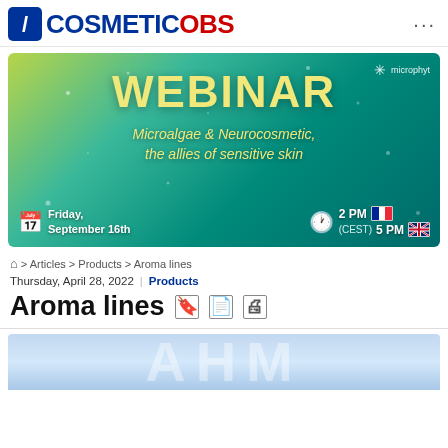COSMETICOBS
[Figure (illustration): Webinar promotional banner for Microphyt: 'WEBINAR - Microalgae & Neurocosmetic, the allies of sensitive skin', Friday September 16th, 2 PM (CEST) / 5 PM, with French and UK flags]
⌂ > Articles > Products > Aroma lines
Thursday, April 28, 2022 | Products
Aroma lines
[Figure (photo): Partial bottom image strip, light blue gradient background with large faint letters]